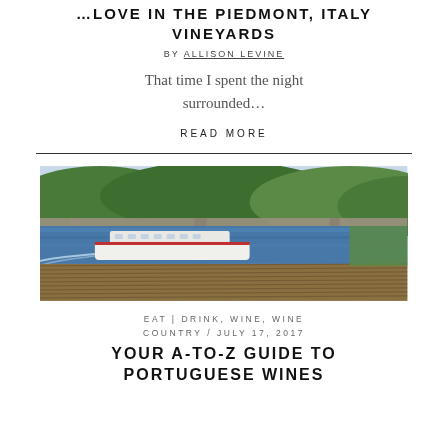…LOVE IN THE PIEDMONT, ITALY VINEYARDS
BY ALLISON LEVINE
That time I spent the night surrounded…
READ MORE
[Figure (photo): Aerial view of a river cruise ship on a wide river with a bridge, vineyards in the foreground and green hills in the background — Douro Valley, Portugal]
EAT | DRINK, WINE, WINE COUNTRY / JULY 17, 2017
YOUR A-TO-Z GUIDE TO PORTUGUESE WINES